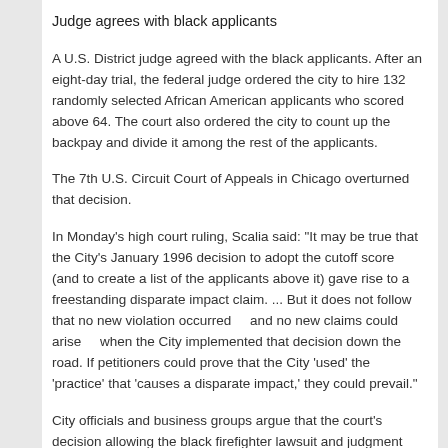Judge agrees with black applicants
A U.S. District judge agreed with the black applicants. After an eight-day trial, the federal judge ordered the city to hire 132 randomly selected African American applicants who scored above 64. The court also ordered the city to count up the backpay and divide it among the rest of the applicants.
The 7th U.S. Circuit Court of Appeals in Chicago overturned that decision.
In Monday's high court ruling, Scalia said: "It may be true that the City's January 1996 decision to adopt the cutoff score (and to create a list of the applicants above it) gave rise to a freestanding disparate impact claim. ... But it does not follow that no new violation occurred     and no new claims could arise     when the City implemented that decision down the road. If petitioners could prove that the City 'used' the 'practice' that 'causes a disparate impact,' they could prevail."
City officials and business groups argue that the court's decision allowing the black firefighter lawsuit and judgment will cause a host of legal problems for them, including opening them to lawsuits claiming unintended discrimination "for practices they have used regularly for years."
"It is not too late to correct the consequences of such a wrong decision...